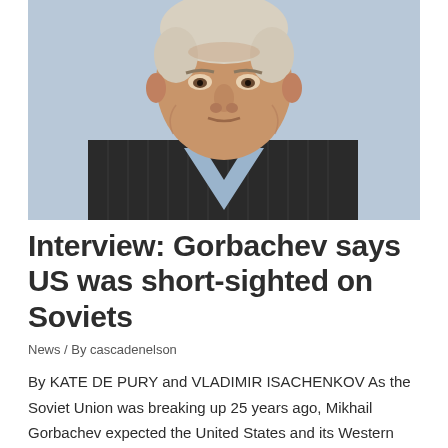[Figure (photo): Close-up portrait photograph of Mikhail Gorbachev, an elderly man with white hair, wearing a dark pinstripe suit and light blue collared shirt, looking forward with a neutral expression against a light blueish background.]
Interview: Gorbachev says US was short-sighted on Soviets
News / By cascadenelson
By KATE DE PURY and VLADIMIR ISACHENKOV As the Soviet Union was breaking up 25 years ago, Mikhail Gorbachev expected the United States and its Western allies to provide vital aid. The